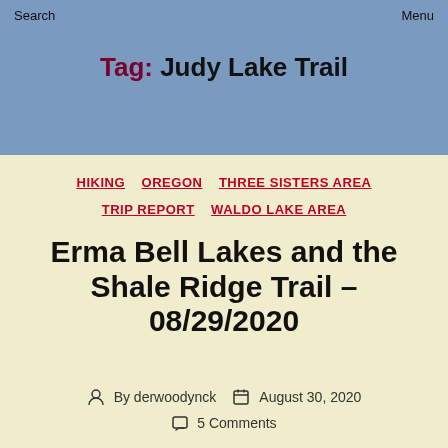Search    Menu
Tag: Judy Lake Trail
HIKING  OREGON  THREE SISTERS AREA  TRIP REPORT  WALDO LAKE AREA
Erma Bell Lakes and the Shale Ridge Trail – 08/29/2020
By derwoodynck   August 30, 2020
5 Comments